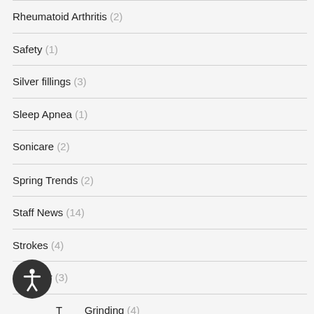Rheumatoid Arthritis (2)
Safety (1)
Silver fillings (3)
Sleep Apnea (1)
Sonicare (2)
Spring Trends (2)
Staff News (14)
Strokes (4)
Summer (3)
Teeth Grinding (4)
TMJ (3)